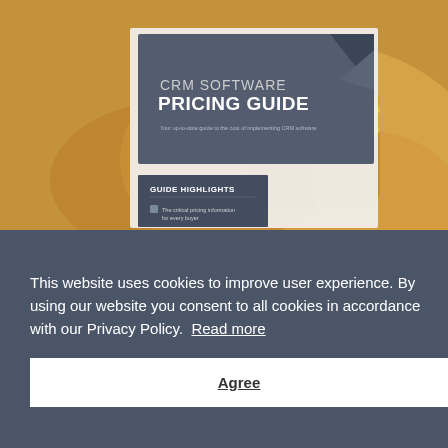[Figure (illustration): A book cover for 'CRM Software Pricing Guide' shown as a physical booklet, with a dark gray/slate header area containing the title text, and a background photo of stacked gold/copper coins. The cover includes a 'GUIDE HIGHLIGHTS' section at the bottom with bullet points. Only partial view visible.]
This website uses cookies to improve user experience. By using our website you consent to all cookies in accordance with our Privacy Policy.  Read more
Agree